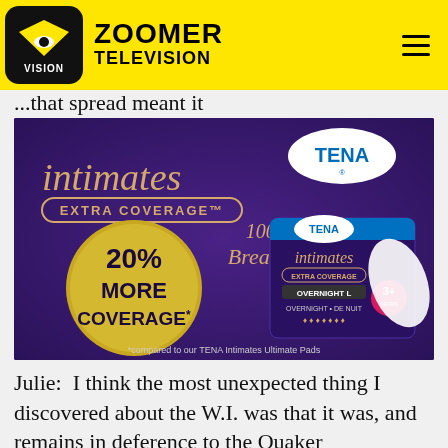ZOOMER TELEVISION
...that spread meant it
[Figure (photo): TENA Intimates Extra Coverage advertisement showing product packaging on a purple background. Features text: '20% MORE COVERAGE*', '100% Breathable.', 'intimates EXTRA COVERAGE', TENA logo, OVERNIGHT product package, and footnote '*compared to our TENA Intimates Ultimate Pads']
Julie:  I think the most unexpected thing I discovered about the W.I. was that it was, and remains in deference to the Quaker membership, a pacifist